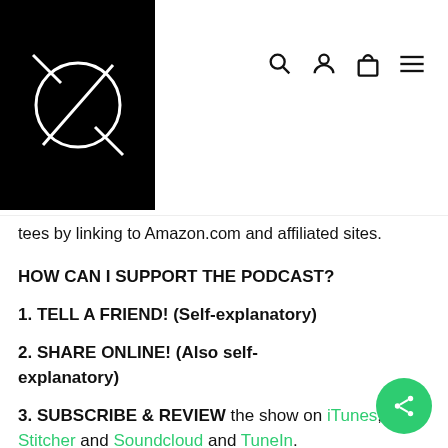[Figure (logo): Black square logo with white geometric line art showing a circle crossed by lines, resembling a crossed-out circle symbol]
tees by linking to Amazon.com and affiliated sites.
HOW CAN I SUPPORT THE PODCAST?
1. TELL A FRIEND! (Self-explanatory)
2. SHARE ONLINE! (Also self-explanatory)
3. SUBSCRIBE & REVIEW the show on iTunes, Stitcher and Soundcloud and TuneIn.